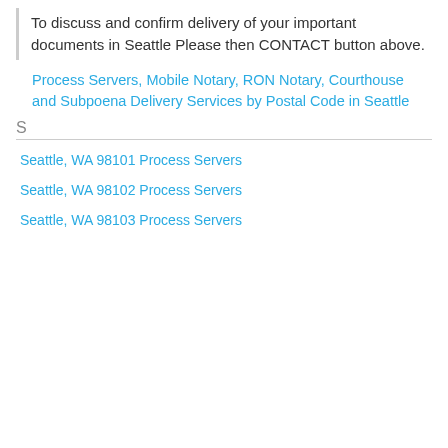To discuss and confirm delivery of your important documents in Seattle Please then CONTACT button above.
Process Servers, Mobile Notary, RON Notary, Courthouse and Subpoena Delivery Services by Postal Code in Seattle
S
Seattle, WA 98101 Process Servers
Seattle, WA 98102 Process Servers
Seattle, WA 98103 Process Servers